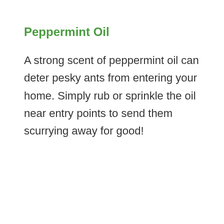Peppermint Oil
A strong scent of peppermint oil can deter pesky ants from entering your home. Simply rub or sprinkle the oil near entry points to send them scurrying away for good!